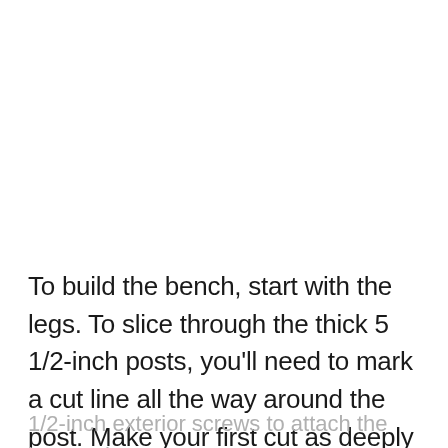To build the bench, start with the legs. To slice through the thick 5 1/2-inch posts, you'll need to mark a cut line all the way around the post. Make your first cut as deeply as your saw allows, then rotate the post and make a second pass. Use 2
1/2-inch exterior screws to attach the legs to the